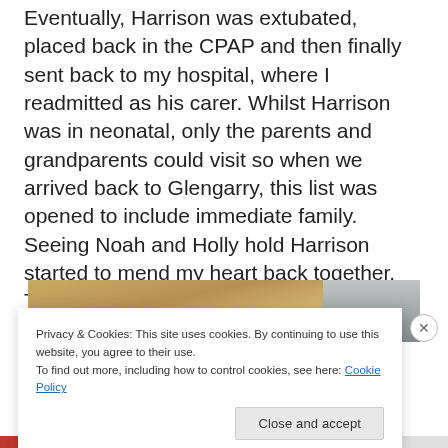Eventually, Harrison was extubated, placed back in the CPAP and then finally sent back to my hospital, where I readmitted as his carer. Whilst Harrison was in neonatal, only the parents and grandparents could visit so when we arrived back to Glengarry, this list was opened to include immediate family. Seeing Noah and Holly hold Harrison started to mend my heart back together. The end was in sight.
[Figure (photo): Partial photo showing what appears to be a warm-toned wooden surface on the left and a grey metallic or glass surface on the right, partially obscured by a cookie consent banner.]
Privacy & Cookies: This site uses cookies. By continuing to use this website, you agree to their use.
To find out more, including how to control cookies, see here: Cookie Policy
Close and accept